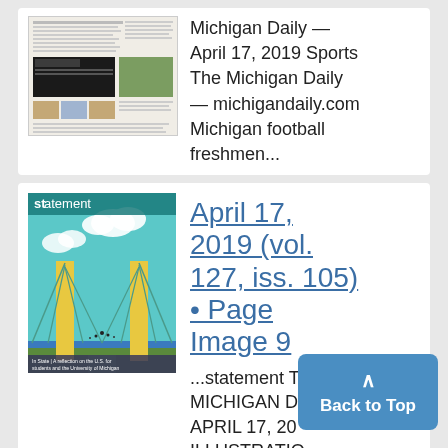[Figure (screenshot): Thumbnail of Michigan Daily newspaper page dated April 17, 2019]
Michigan Daily — April 17, 2019 Sports The Michigan Daily — michigandaily.com Michigan football freshmen...
[Figure (illustration): Cover of 'statement' magazine showing a suspension bridge illustration with teal sky, clouds, and pillars. Text: 'In State | A reflection on the U.S. for students and the University of Michigan']
April 17, 2019 (vol. 127, iss. 105) • Page Image 9
...statement THE MICHIGAN DAILY | APRIL 17, 20 ILLUSTRATIO LAUREN KUZ...